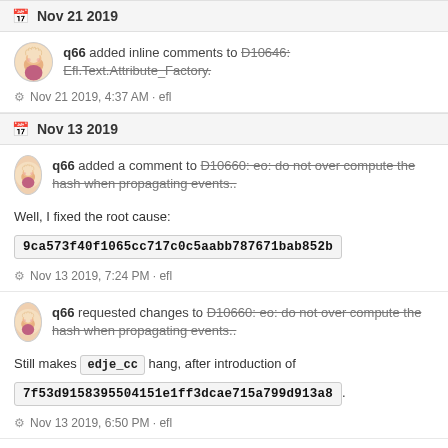Nov 21 2019
q66 added inline comments to D10646: Efl.Text.Attribute_Factory.
Nov 21 2019, 4:37 AM · efl
Nov 13 2019
q66 added a comment to D10660: eo: do not over compute the hash when propagating events..
Well, I fixed the root cause:
9ca573f40f1065cc717c0c5aabb787671bab852b
Nov 13 2019, 7:24 PM · efl
q66 requested changes to D10660: eo: do not over compute the hash when propagating events..
Still makes edje_cc hang, after introduction of
7f53d9158395504151e1ff3dcae715a799d913a8
Nov 13 2019, 6:50 PM · efl